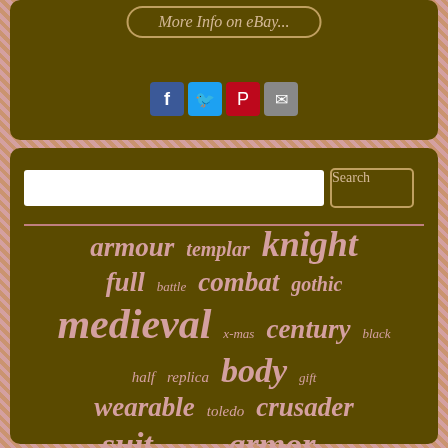[Figure (screenshot): eBay button with rounded border and italic text 'More Info on eBay...']
[Figure (infographic): Social media share icons: Facebook, Twitter, Pinterest, Email]
[Figure (screenshot): Search bar with text input and Search button]
armour templar knight full battle combat gothic medieval x-mas century black half replica body gift wearable toledo crusader suit stainless armor feet